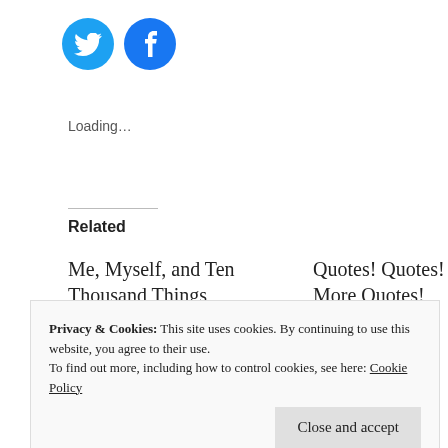[Figure (other): Two social media icon circles: Twitter (blue bird) and Facebook (blue f)]
Loading…
Related
Me, Myself, and Ten Thousand Things
March 2, 2015
In 'writing'
Quotes! Quotes! and More Quotes!
July 10, 2015
In 'Blogging'
The Top Ten Books That Have Influenced Me
Privacy & Cookies: This site uses cookies. By continuing to use this website, you agree to their use.
To find out more, including how to control cookies, see here: Cookie Policy
Close and accept
3 Replies to "Word Porn Courtesy of